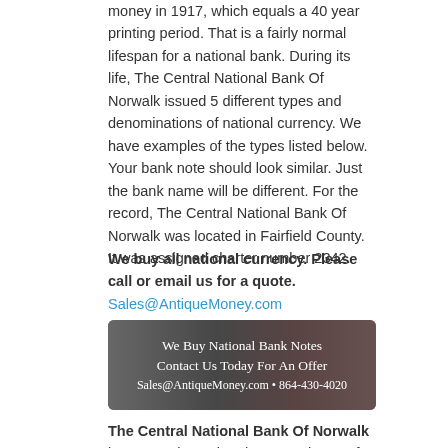money in 1917, which equals a 40 year printing period. That is a fairly normal lifespan for a national bank. During its life, The Central National Bank Of Norwalk issued 5 different types and denominations of national currency. We have examples of the types listed below. Your bank note should look similar. Just the bank name will be different. For the record, The Central National Bank Of Norwalk was located in Fairfield County. It was assigned charter number 2342.
We buy all national currency. Please call or email us for a quote. Sales@AntiqueMoney.com
[Figure (infographic): Banner advertisement: We Buy National Bank Notes. Contact Us Today For An Offer. Sales@AntiqueMoney.com • 864-430-4020]
The Central National Bank Of Norwalk in Connecticut printed 20,521 sheets of $5 series of